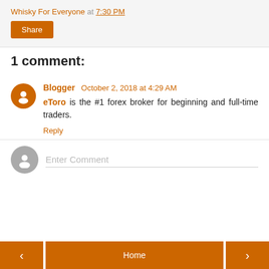Whisky For Everyone at 7:30 PM
Share
1 comment:
Blogger October 2, 2018 at 4:29 AM
eToro is the #1 forex broker for beginning and full-time traders.
Reply
Enter Comment
< Home >